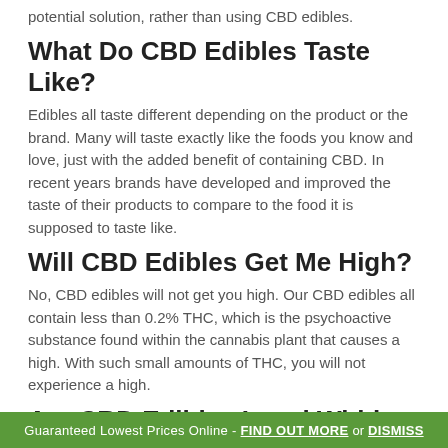potential solution, rather than using CBD edibles.
What Do CBD Edibles Taste Like?
Edibles all taste different depending on the product or the brand. Many will taste exactly like the foods you know and love, just with the added benefit of containing CBD. In recent years brands have developed and improved the taste of their products to compare to the food it is supposed to taste like.
Will CBD Edibles Get Me High?
No, CBD edibles will not get you high. Our CBD edibles all contain less than 0.2% THC, which is the psychoactive substance found within the cannabis plant that causes a high. With such small amounts of THC, you will not experience a high.
Are CBD Edibles Legal Within The UK?
Yes, CBD edibles are completely legal within the UK. Under
Guaranteed Lowest Prices Online -  FIND OUT MORE or  DISMISS